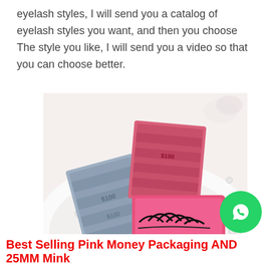eyelash styles, I will send you a catalog of eyelash styles you want, and then you choose The style you like, I will send you a video so that you can choose better.
[Figure (photo): Product photo showing pink money-patterned eyelash packaging boxes and a pink tray with false eyelashes, displayed on a white furry surface with pearls]
Best Selling Pink Money Packaging AND 25MM Mink